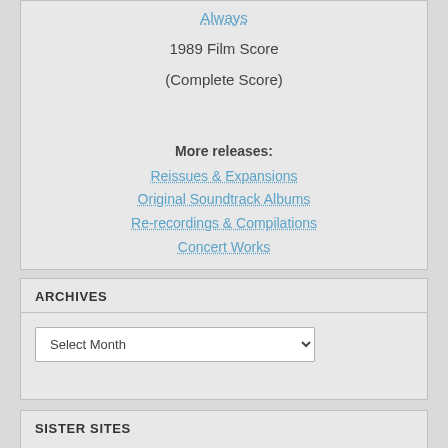Always
1989 Film Score
(Complete Score)
More releases:
Reissues & Expansions
Original Soundtrack Albums
Re-recordings & Compilations
Concert Works
ARCHIVES
Select Month
SISTER SITES